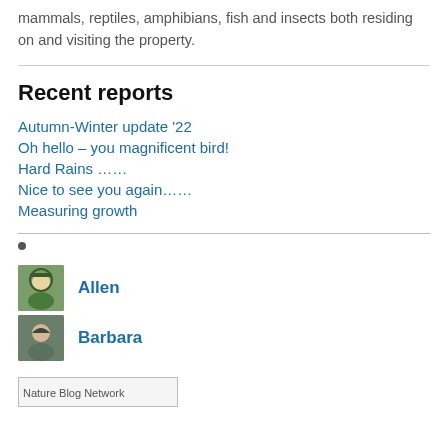mammals, reptiles, amphibians, fish and insects both residing on and visiting the property.
Recent reports
Autumn-Winter update '22
Oh hello – you magnificent bird!
Hard Rains ……
Nice to see you again……
Measuring growth
Allen
Barbara
[Figure (logo): Nature Blog Network logo/badge]